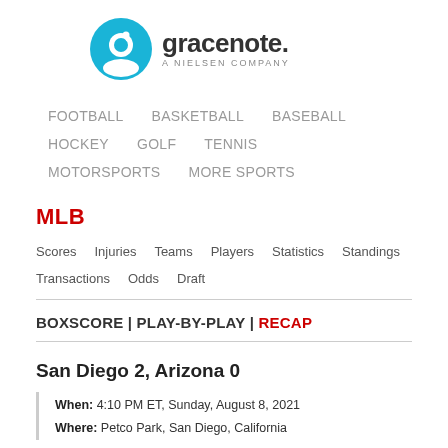[Figure (logo): Gracenote - A Nielsen Company logo with teal circle icon and stylized 'g']
FOOTBALL   BASKETBALL   BASEBALL
HOCKEY   GOLF   TENNIS
MOTORSPORTS   MORE SPORTS
MLB
Scores   Injuries   Teams   Players   Statistics   Standings   Transactions   Odds   Draft
BOXSCORE | PLAY-BY-PLAY | RECAP
San Diego 2, Arizona 0
When: 4:10 PM ET, Sunday, August 8, 2021
Where: Petco Park, San Diego, California